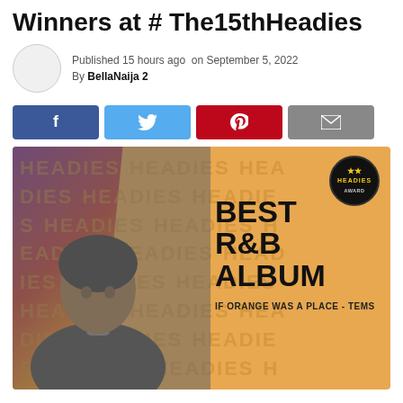Winners at #The15thHeadies
Published 15 hours ago  on September 5, 2022
By BellaNaija 2
[Figure (infographic): Social share buttons: Facebook (blue), Twitter (light blue), Pinterest (red), Email (grey)]
[Figure (photo): Headies award winner graphic for Best R&B Album - 'If Orange Was a Place' by Tems. Features a black and white photo of a woman with braids on a colorful orange background with the Headies logo.]